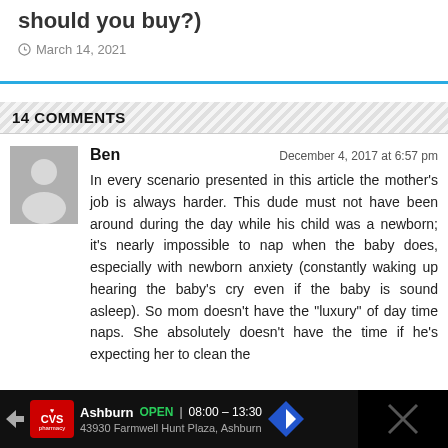should you buy?)
March 14, 2021
14 COMMENTS
Ben   December 4, 2017 at 6:57 pm
In every scenario presented in this article the mother's job is always harder. This dude must not have been around during the day while his child was a newborn; it's nearly impossible to nap when the baby does, especially with newborn anxiety (constantly waking up hearing the baby's cry even if the baby is sound asleep). So mom doesn't have the "luxury" of day time naps. She absolutely doesn't have the time if he's expecting her to clean the
[Figure (screenshot): CVS Pharmacy advertisement banner showing Ashburn OPEN 08:00-13:30 at 43930 Farmwell Hunt Plaza, Ashburn]